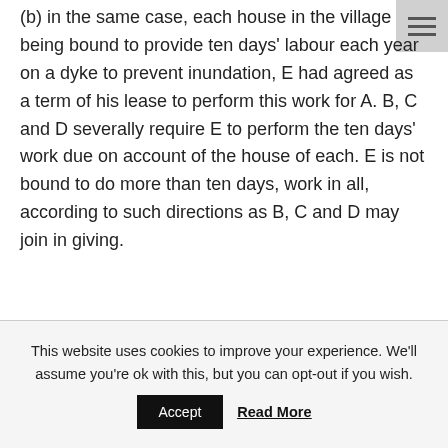(b) in the same case, each house in the village being bound to provide ten days' labour each year on a dyke to prevent inundation, E had agreed as a term of his lease to perform this work for A. B, C and D severally require E to perform the ten days' work due on account of the house of each. E is not bound to do more than ten days, work in all, according to such directions as B, C and D may join in giving.
This website uses cookies to improve your experience. We'll assume you're ok with this, but you can opt-out if you wish.
Accept
Read More